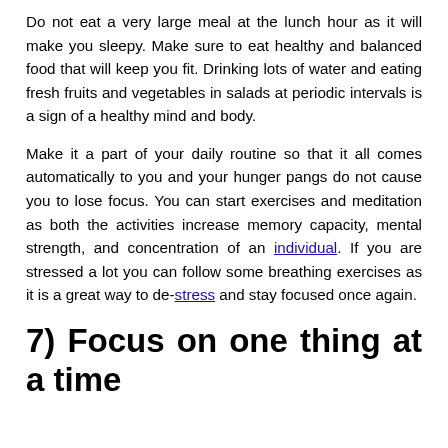Do not eat a very large meal at the lunch hour as it will make you sleepy. Make sure to eat healthy and balanced food that will keep you fit. Drinking lots of water and eating fresh fruits and vegetables in salads at periodic intervals is a sign of a healthy mind and body.
Make it a part of your daily routine so that it all comes automatically to you and your hunger pangs do not cause you to lose focus. You can start exercises and meditation as both the activities increase memory capacity, mental strength, and concentration of an individual. If you are stressed a lot you can follow some breathing exercises as it is a great way to de-stress and stay focused once again.
7) Focus on one thing at a time